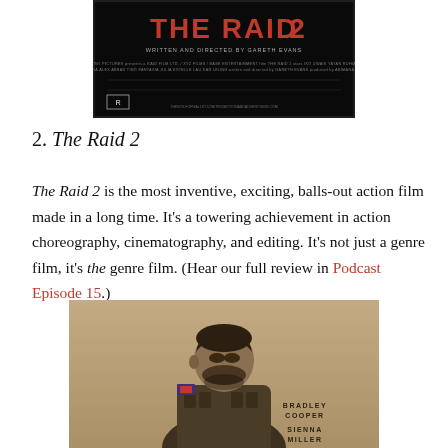[Figure (photo): Movie poster for The Raid 2 — black background with red/orange title text and production credits]
2. The Raid 2
The Raid 2 is the most inventive, exciting, balls-out action film made in a long time. It's a towering achievement in action choreography, cinematography, and editing. It's not just a genre film, it's the genre film. (Hear our full review in Podcast Episode 15.)
[Figure (photo): Movie poster for American Sniper showing a soldier (Bradley Cooper) with head bowed in military gear, with Bradley Cooper and Sienna Miller credits on the right]